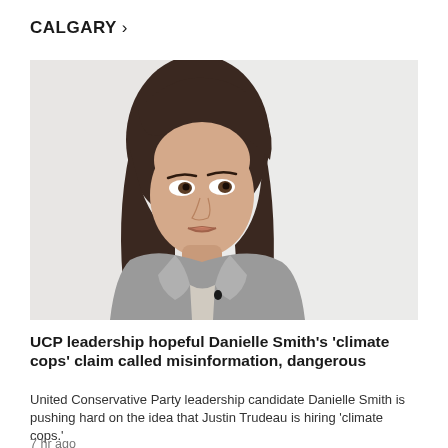CALGARY >
[Figure (photo): A woman with dark shoulder-length hair wearing a grey blazer, looking slightly to the side against a light grey/white background. This appears to be Danielle Smith, a UCP leadership candidate.]
UCP leadership hopeful Danielle Smith's 'climate cops' claim called misinformation, dangerous
United Conservative Party leadership candidate Danielle Smith is pushing hard on the idea that Justin Trudeau is hiring 'climate cops.'
7 hr ago